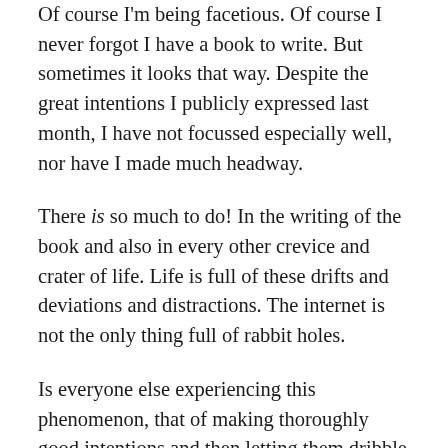Of course I'm being facetious. Of course I never forgot I have a book to write. But sometimes it looks that way. Despite the great intentions I publicly expressed last month, I have not focussed especially well, nor have I made much headway.
There is so much to do! In the writing of the book and also in every other crevice and crater of life. Life is full of these drifts and deviations and distractions. The internet is not the only thing full of rabbit holes.
Is everyone else experiencing this phenomenon, that of making thoroughly good intentions and then letting them dribble away, as if they were unimportant? It doesn't make sense. We know what we need to do. We know what's good for us. Why then is it so difficult? What makes us